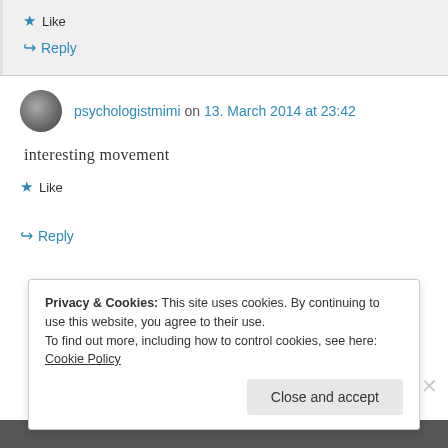Like
Reply
psychologistmimi on 13. March 2014 at 23:42
interesting movement
Like
Reply
Privacy & Cookies: This site uses cookies. By continuing to use this website, you agree to their use. To find out more, including how to control cookies, see here: Cookie Policy
Close and accept